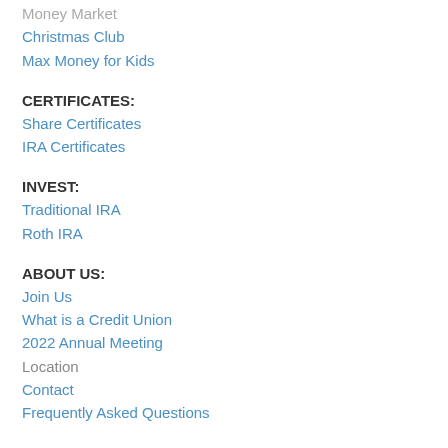Money Market
Christmas Club
Max Money for Kids
CERTIFICATES:
Share Certificates
IRA Certificates
INVEST:
Traditional IRA
Roth IRA
ABOUT US:
Join Us
What is a Credit Union
2022 Annual Meeting
Location
Contact
Frequently Asked Questions